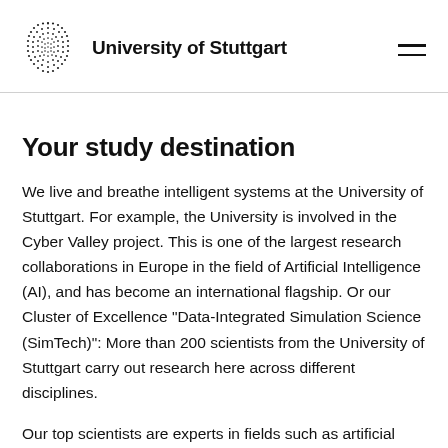University of Stuttgart
Your study destination
We live and breathe intelligent systems at the University of Stuttgart. For example, the University is involved in the Cyber Valley project. This is one of the largest research collaborations in Europe in the field of Artificial Intelligence (AI), and has become an international flagship. Or our Cluster of Excellence “Data-Integrated Simulation Science (SimTech)”: More than 200 scientists from the University of Stuttgart carry out research here across different disciplines.
Our top scientists are experts in fields such as artificial language processing, cyber security, control engineering or